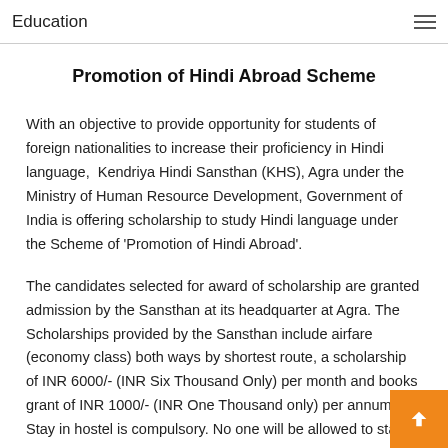Education
Promotion of Hindi Abroad Scheme
With an objective to provide opportunity for students of foreign nationalities to increase their proficiency in Hindi language,  Kendriya Hindi Sansthan (KHS), Agra under the Ministry of Human Resource Development, Government of India is offering scholarship to study Hindi language under the Scheme of 'Promotion of Hindi Abroad'.
The candidates selected for award of scholarship are granted admission by the Sansthan at its headquarter at Agra. The Scholarships provided by the Sansthan include airfare (economy class) both ways by shortest route, a scholarship of INR 6000/- (INR Six Thousand Only) per month and books grant of INR 1000/- (INR One Thousand only) per annum. Stay in hostel is compulsory. No one will be allowed to stay